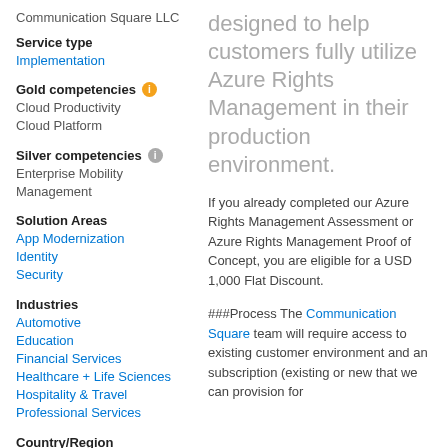Communication Square LLC
Service type
Implementation
Gold competencies
Cloud Productivity
Cloud Platform
Silver competencies
Enterprise Mobility Management
Solution Areas
App Modernization
Identity
Security
Industries
Automotive
Education
Financial Services
Healthcare + Life Sciences
Hospitality & Travel
Professional Services
Country/Region
Faroe Islands
designed to help customers fully utilize Azure Rights Management in their production environment.
If you already completed our Azure Rights Management Assessment or Azure Rights Management Proof of Concept, you are eligible for a USD 1,000 Flat Discount.
###Process The Communication Square team will require access to existing customer environment and an subscription (existing or new that we can provision for